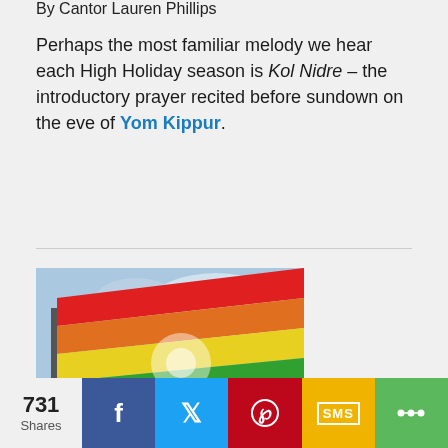By Cantor Lauren Phillips
Perhaps the most familiar melody we hear each High Holiday season is Kol Nidre – the introductory prayer recited before sundown on the eve of Yom Kippur.
[Figure (photo): Rainbow pride flag waving against a blue sky with clouds]
What does Yom Kippur have to do with...
731 Shares — social sharing bar with Facebook, Twitter, Pinterest, SMS, and more buttons